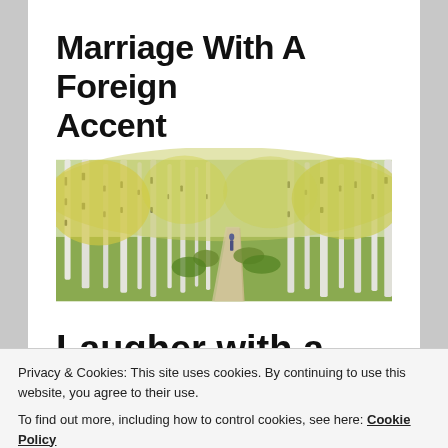Marriage With A Foreign Accent
[Figure (photo): Wide panoramic photo of a birch tree forest path in autumn with yellow foliage, a person standing on a winding dirt path in the distance]
Laugher with a foreign accent
Privacy & Cookies: This site uses cookies. By continuing to use this website, you agree to their use.
To find out more, including how to control cookies, see here: Cookie Policy
Close and accept